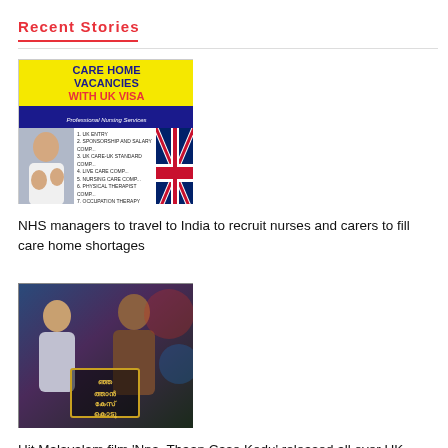Recent Stories
[Figure (photo): Advertisement image for Care Home Vacancies With UK Visa showing a UK flag, a list of nursing services, and a caregiver photo]
NHS managers to travel to India to recruit nurses and carers to fill care home shortages
[Figure (photo): Movie poster for Malayalam film 'Nna, Thaan Case Kodu' showing film actors and Malayalam script title]
Hit Malayalam film 'Nna, Thaan Case Kodu' released all over UK and Europe